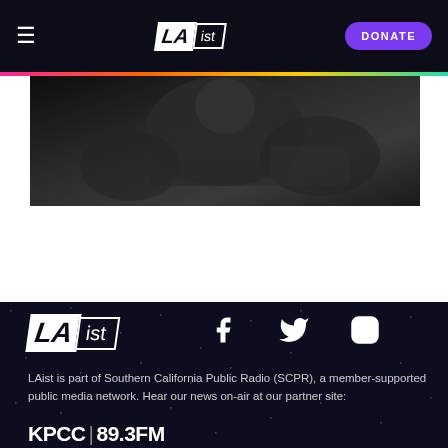LAist | DONATE
[Figure (photo): Black and white photo of a person, partially visible, dark background]
[Figure (logo): LAist logo — white block letters in parallelogram shape]
[Figure (infographic): Social media icons: Facebook, Twitter, Instagram]
LAist is part of Southern California Public Radio (SCPR), a member-supported public media network. Hear our news on-air at our partner site:
KPCC | 89.3FM